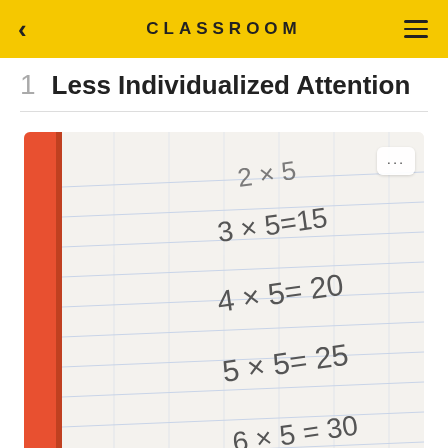CLASSROOM
1  Less Individualized Attention
[Figure (photo): Child's hands writing multiplication table equations (2x5=, 3x5=15, 4x5=20, 5x5=25, 6x5=30, 7x5=, 8x=) in a lined notebook on a wooden table]